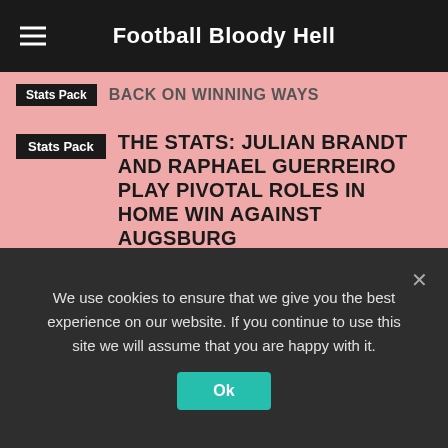Football Bloody Hell
STATS PACK — BACK ON WINNING WAYS (partial, cut off)
THE STATS: JULIAN BRANDT AND RAPHAEL GUERREIRO PLAY PIVOTAL ROLES IN HOME WIN AGAINST AUGSBURG
POPULAR ARTICLES
OBITUARY: DAVID ARMSTRONG – A SPIKE IN CONSISTENCY (partially cut off)
We use cookies to ensure that we give you the best experience on our website. If you continue to use this site we will assume that you are happy with it.